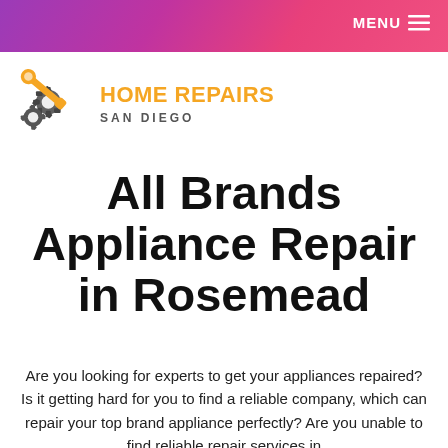MENU
[Figure (logo): Home Repairs San Diego logo with wrench and gear icons in orange and dark gray, with text HOME REPAIRS SAN DIEGO]
All Brands Appliance Repair in Rosemead
Are you looking for experts to get your appliances repaired? Is it getting hard for you to find a reliable company, which can repair your top brand appliance perfectly? Are you unable to find reliable repair services in